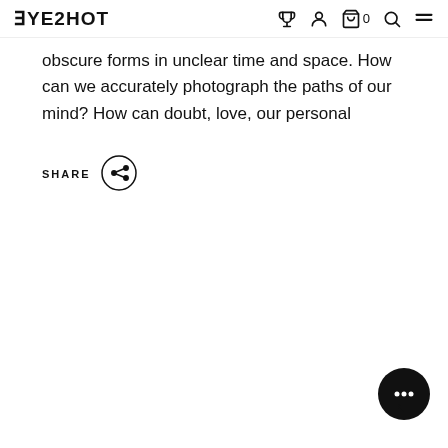EYESHOT
obscure forms in unclear time and space. How can we accurately photograph the paths of our mind? How can doubt, love, our personal
SHARE
[Figure (illustration): Chat bubble button icon, dark circle with ellipsis (three dots) inside, bottom-right corner]